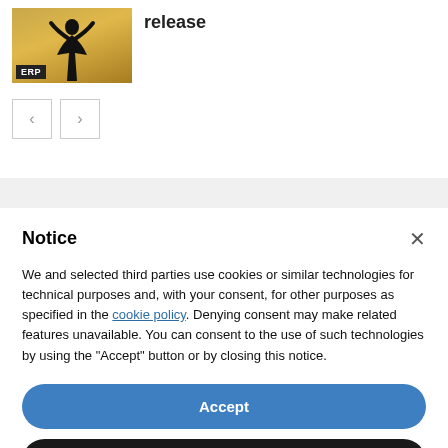[Figure (photo): Thumbnail image of a silhouette person with arms raised against a golden sky, with an ERP badge overlay in the bottom-left corner]
release
[Figure (other): Navigation arrows: left arrow button and right arrow button]
Notice
We and selected third parties use cookies or similar technologies for technical purposes and, with your consent, for other purposes as specified in the cookie policy. Denying consent may make related features unavailable. You can consent to the use of such technologies by using the "Accept" button or by closing this notice.
Accept
Learn more and customise